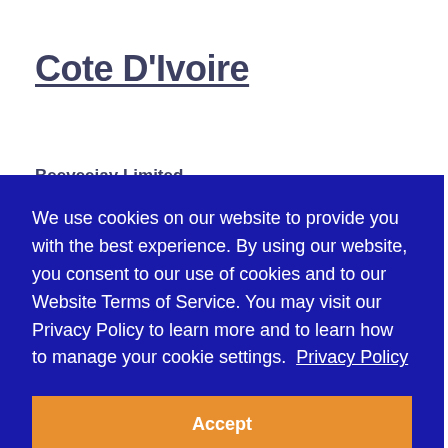Cote D'Ivoire
Beeveejay Limited
We use cookies on our website to provide you with the best experience. By using our website, you consent to our use of cookies and to our Website Terms of Service. You may visit our Privacy Policy to learn more and to learn how to manage your cookie settings.  Privacy Policy
Accept